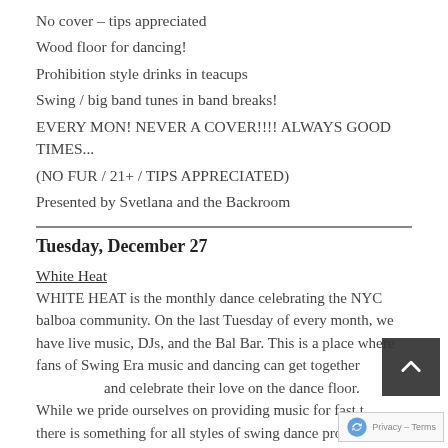No cover – tips appreciated
Wood floor for dancing!
Prohibition style drinks in teacups
Swing / big band tunes in band breaks!
EVERY MON! NEVER A COVER!!!! ALWAYS GOOD TIMES...
(NO FUR / 21+ / TIPS APPRECIATED)
Presented by Svetlana and the Backroom
Tuesday, December 27
White Heat
WHITE HEAT is the monthly dance celebrating the NYC balboa community. On the last Tuesday of every month, we have live music, DJs, and the Bal Bar. This is a place where fans of Swing Era music and dancing can get together and celebrate their love on the dance floor.
While we pride ourselves on providing music for fast t...
there is something for all styles of swing dance provided at...